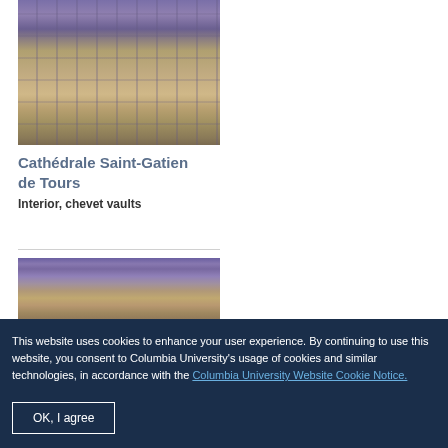[Figure (photo): Interior view of cathedral vaulted ceiling with Gothic ribbed vaults and stained glass windows, viewed from below looking upward]
Cathédrale Saint-Gatien de Tours
Interior, chevet vaults
[Figure (photo): Partial view of cathedral interior with Gothic vaulted ceiling and colorful stained glass windows]
This website uses cookies to enhance your user experience. By continuing to use this website, you consent to Columbia University's usage of cookies and similar technologies, in accordance with the Columbia University Website Cookie Notice.
OK, I agree